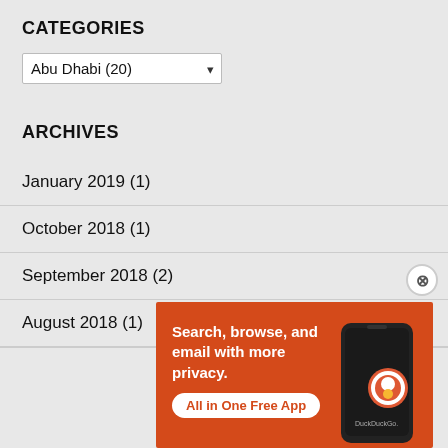CATEGORIES
Abu Dhabi  (20)
ARCHIVES
January 2019 (1)
October 2018 (1)
September 2018 (2)
August 2018 (1)
[Figure (screenshot): DuckDuckGo advertisement banner - orange background with text 'Search, browse, and email with more privacy. All in One Free App' and DuckDuckGo logo on phone]